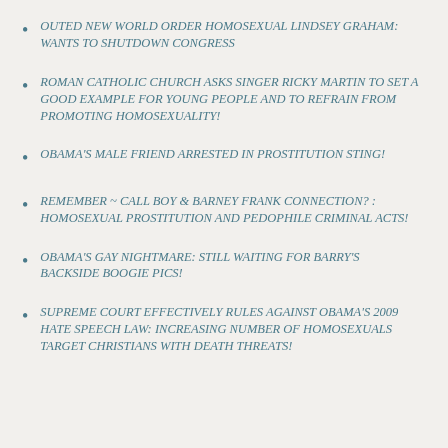OUTED NEW WORLD ORDER HOMOSEXUAL LINDSEY GRAHAM: WANTS TO SHUTDOWN CONGRESS
ROMAN CATHOLIC CHURCH ASKS SINGER RICKY MARTIN TO SET A GOOD EXAMPLE FOR YOUNG PEOPLE AND TO REFRAIN FROM PROMOTING HOMOSEXUALITY!
OBAMA'S MALE FRIEND ARRESTED IN PROSTITUTION STING!
REMEMBER ~ CALL BOY & BARNEY FRANK CONNECTION? : HOMOSEXUAL PROSTITUTION AND PEDOPHILE CRIMINAL ACTS!
OBAMA'S GAY NIGHTMARE: STILL WAITING FOR BARRY'S BACKSIDE BOOGIE PICS!
SUPREME COURT EFFECTIVELY RULES AGAINST OBAMA'S 2009 HATE SPEECH LAW: INCREASING NUMBER OF HOMOSEXUALS TARGET CHRISTIANS WITH DEATH THREATS!